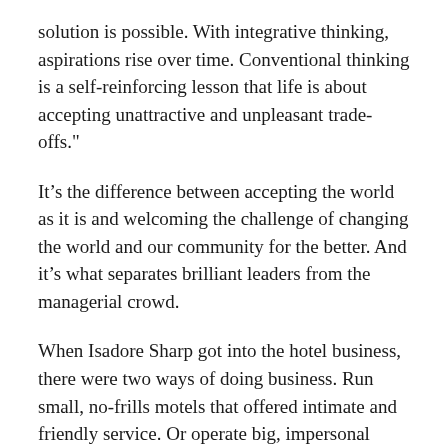solution is possible. With integrative thinking, aspirations rise over time. Conventional thinking is a self-reinforcing lesson that life is about accepting unattractive and unpleasant trade-offs."
It’s the difference between accepting the world as it is and welcoming the challenge of changing the world and our community for the better. And it’s what separates brilliant leaders from the managerial crowd.
When Isadore Sharp got into the hotel business, there were two ways of doing business. Run small, no-frills motels that offered intimate and friendly service. Or operate big, impersonal downtown hotels catering to business travellers, packed with enough rooms to cover the costs of conference and banquet facilities and multiple restaurants.